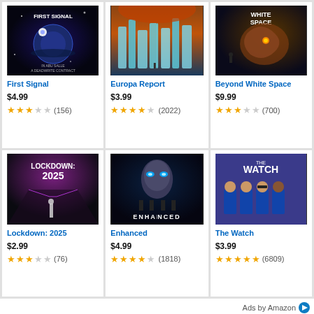[Figure (photo): Movie poster for First Signal - sci-fi space film]
First Signal
$4.99
★★★☆☆ (156)
[Figure (photo): Movie poster for Europa Report - sci-fi film with icy alien landscape]
Europa Report
$3.99
★★★★☆ (2022)
[Figure (photo): Movie poster for Beyond White Space - sci-fi creature film]
Beyond White Space
$9.99
★★★☆☆ (700)
[Figure (photo): Movie poster for Lockdown: 2025 - post-apocalyptic sci-fi]
Lockdown: 2025
$2.99
★★★☆☆ (76)
[Figure (photo): Movie poster for Enhanced - sci-fi thriller]
Enhanced
$4.99
★★★★☆ (1818)
[Figure (photo): Movie poster for The Watch - comedy film]
The Watch
$3.99
★★★★☆ (6809)
Ads by Amazon